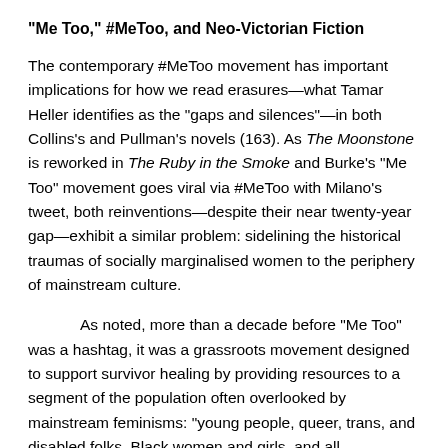“Me Too,” #MeToo, and Neo-Victorian Fiction
The contemporary #MeToo movement has important implications for how we read erasures—what Tamar Heller identifies as the “gaps and silences”—in both Collins’s and Pullman’s novels (163). As The Moonstone is reworked in The Ruby in the Smoke and Burke’s “Me Too” movement goes viral via #MeToo with Milano’s tweet, both reinventions—despite their near twenty-year gap—exhibit a similar problem: sidelining the historical traumas of socially marginalised women to the periphery of mainstream culture.
As noted, more than a decade before “Me Too” was a hashtag, it was a grassroots movement designed to support survivor healing by providing resources to a segment of the population often overlooked by mainstream feminisms: “young people, queer, trans, and disabled folks, Black women and girls, and all communities of color” (“History & Inception”).[7] Like the stories of female colonial victims and female encounters with